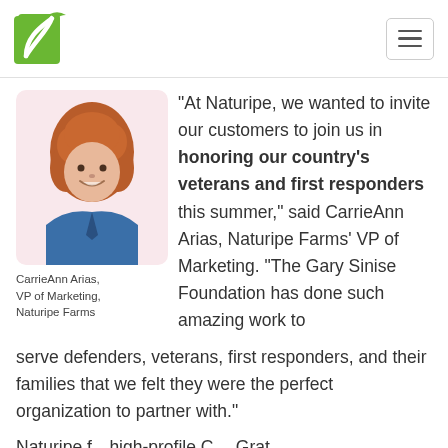Naturipe Farms
[Figure (photo): Headshot of CarrieAnn Arias, a woman with curly red hair wearing a blue blazer, on a light pink background]
CarrieAnn Arias, VP of Marketing, Naturipe Farms
“At Naturipe, we wanted to invite our customers to join us in honoring our country’s veterans and first responders this summer,” said CarrieAnn Arias, Naturipe Farms’ VP of Marketing. “The Gary Sinise Foundation has done such amazing work to serve defenders, veterans, first responders, and their families that we felt they were the perfect organization to partner with.”
Naturipe f… high-profile Campaign Gratit…